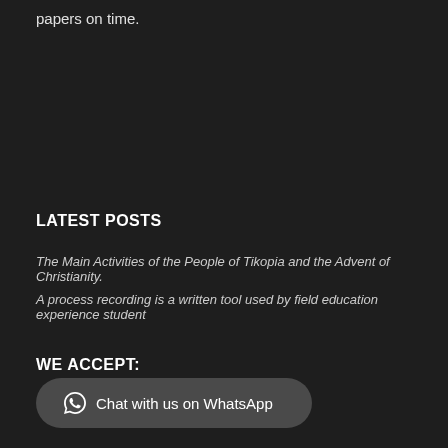papers on time.
LATEST POSTS
The Main Activities of the People of Tikopia and the Advent of Christianity.
A process recording is a written tool used by field education experience student
WE ACCEPT:
Chat with us on WhatsApp